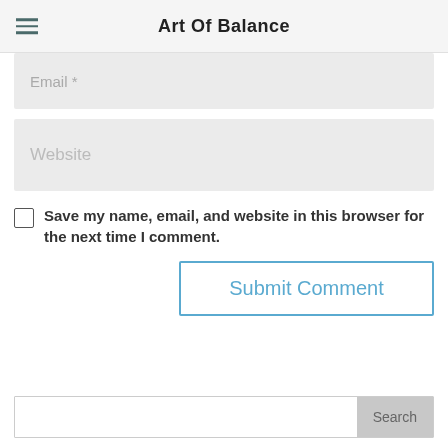Art Of Balance
[Figure (screenshot): Email input field (partially visible, cropped at top) with placeholder text 'Email *']
[Figure (screenshot): Website input field with placeholder text 'Website']
Save my name, email, and website in this browser for the next time I comment.
[Figure (screenshot): Submit Comment button with blue border and blue text]
[Figure (screenshot): Search input field with Search button]